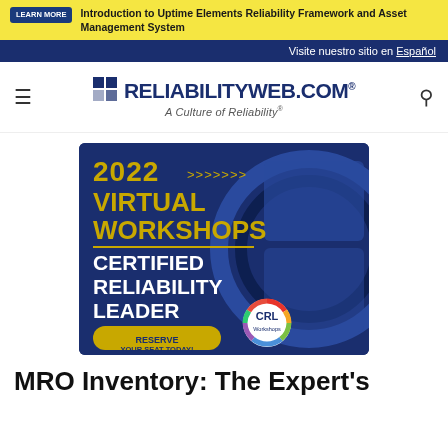Introduction to Uptime Elements Reliability Framework and Asset Management System
Visite nuestro sitio en Español
[Figure (logo): ReliabilityWeb.com logo with grid icon and tagline 'A Culture of Reliability']
[Figure (illustration): 2022 Virtual Workshops - Certified Reliability Leader advertisement banner with CRL Workshops badge and 'Reserve Your Seat Today!' button]
MRO Inventory: The Expert's